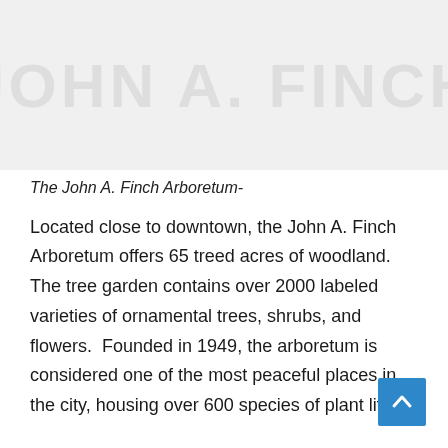[Figure (other): Large faded watermark-style text image at the top of the page showing ghosted text in light gray on a light gray background]
The John A. Finch Arboretum-
Located close to downtown, the John A. Finch Arboretum offers 65 treed acres of woodland.  The tree garden contains over 2000 labeled varieties of ornamental trees, shrubs, and flowers.  Founded in 1949, the arboretum is considered one of the most peaceful places in the city, housing over 600 species of plant life.